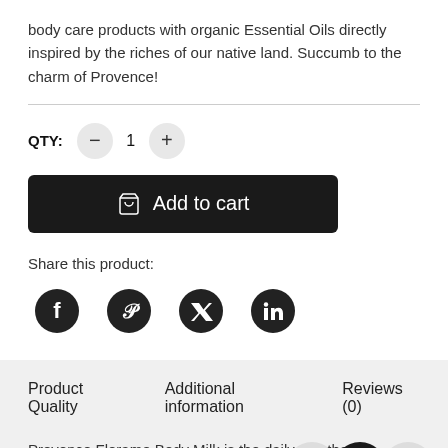body care products with organic Essential Oils directly inspired by the riches of our native land. Succumb to the charm of Provence!
QTY: — 1 +
Add to cart
Share this product:
[Figure (infographic): Social media share icons: Facebook, Pinterest, Twitter, LinkedIn]
Product Quality    Additional information    Reviews (0)
Provence Florame Body Milk is the daily car... the ole family *
[Figure (infographic): Floating social icons: WhatsApp, Facebook, Instagram]